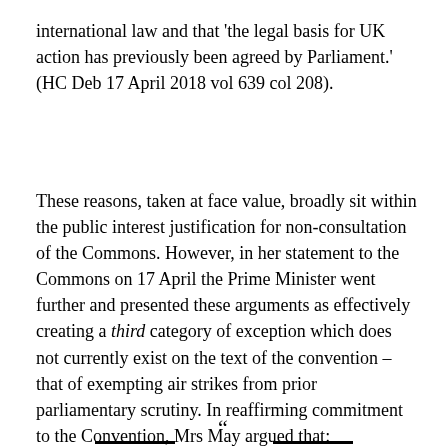international law and that 'the legal basis for UK action has previously been agreed by Parliament.' (HC Deb 17 April 2018 vol 639 col 208).
These reasons, taken at face value, broadly sit within the public interest justification for non-consultation of the Commons. However, in her statement to the Commons on 17 April the Prime Minister went further and presented these arguments as effectively creating a third category of exception which does not currently exist on the text of the convention – that of exempting air strikes from prior parliamentary scrutiny. In reaffirming commitment to the Convention, Mrs May argued that: